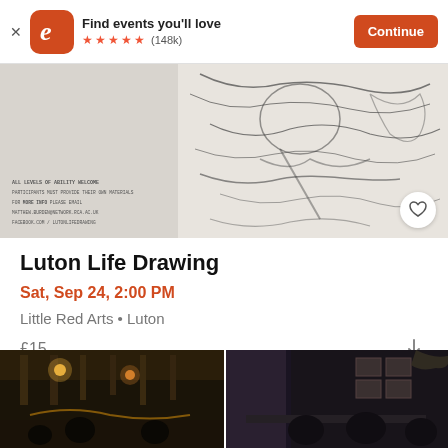[Figure (screenshot): Eventbrite app banner with logo, 'Find events you'll love' text, 5-star rating (148k reviews), and Continue button]
[Figure (photo): Life drawing event banner image showing pencil sketch of human figure with event text overlay]
Luton Life Drawing
Sat, Sep 24, 2:00 PM
Little Red Arts • Luton
£15
[Figure (photo): Two photos of event venue interior showing dimly lit bar/pub atmosphere with warm lighting]